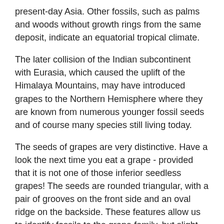present-day Asia. Other fossils, such as palms and woods without growth rings from the same deposit, indicate an equatorial tropical climate.
The later collision of the Indian subcontinent with Eurasia, which caused the uplift of the Himalaya Mountains, may have introduced grapes to the Northern Hemisphere where they are known from numerous younger fossil seeds and of course many species still living today.
The seeds of grapes are very distinctive. Have a look the next time you eat a grape - provided that it is not one of those inferior seedless grapes! The seeds are rounded triangular, with a pair of grooves on the front side and an oval ridge on the backside. These features allow us to identify fossils to the grape family, but slight differences lead us to interpret the India fossils to represent an extinct genus of the family.